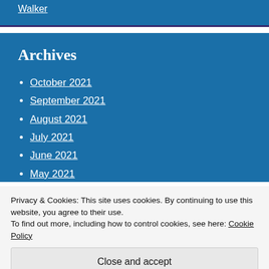Walker
Archives
October 2021
September 2021
August 2021
July 2021
June 2021
May 2021
Privacy & Cookies: This site uses cookies. By continuing to use this website, you agree to their use. To find out more, including how to control cookies, see here: Cookie Policy
Close and accept
December 2020